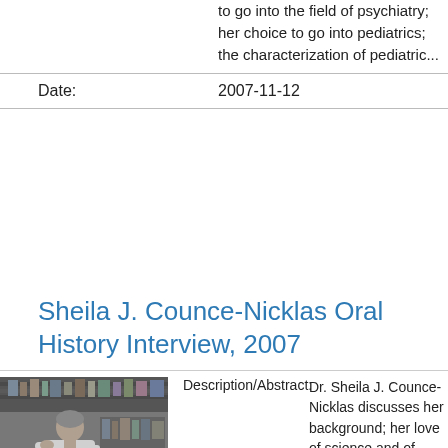to go into the field of psychiatry; her choice to go into pediatrics; the characterization of pediatric...
Date: 2007-11-12
Sheila J. Counce-Nicklas Oral History Interview, 2007
[Figure (photo): Black and white photo of Dr. Sheila J. Counce-Nicklas sitting at a desk surrounded by books and papers]
Description/Abstract: Dr. Sheila J. Counce-Nicklas discusses her background; her love of science and of